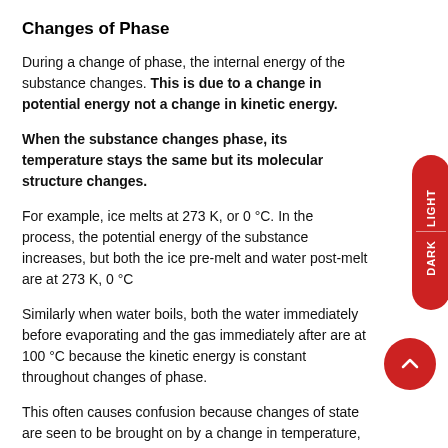Changes of Phase
During a change of phase, the internal energy of the substance changes. This is due to a change in potential energy not a change in kinetic energy.
When the substance changes phase, its temperature stays the same but its molecular structure changes.
For example, ice melts at 273 K, or 0 °C. In the process, the potential energy of the substance increases, but both the ice pre-melt and water post-melt are at 273 K, 0 °C
Similarly when water boils, both the water immediately before evaporating and the gas immediately after are at 100 °C because the kinetic energy is constant throughout changes of phase.
This often causes confusion because changes of state are seen to be brought on by a change in temperature,